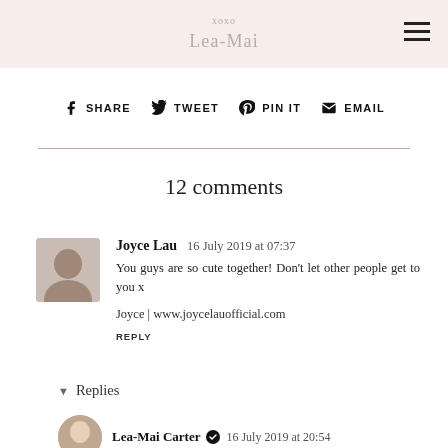xoxo
Lea-Mai
f SHARE   y TWEET   p PIN IT   ✉ EMAIL
12 comments
Joyce Lau  16 July 2019 at 07:37
You guys are so cute together! Don't let other people get to you x
Joyce | www.joycelauofficial.com
REPLY
▾ Replies
Lea-Mai Carter ✔  16 July 2019 at 20:54